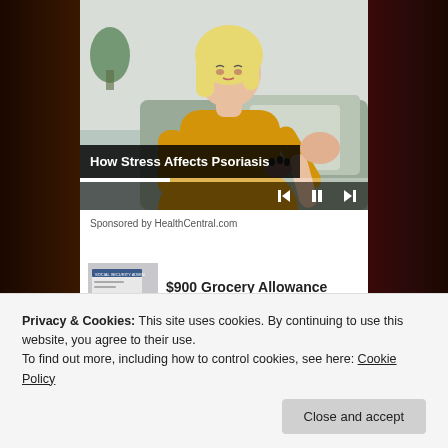[Figure (photo): Screenshot of a webpage showing a woman in a yellow sweater looking at her arm/elbow, with a video player overlay. The video title bar reads 'How Stress Affects Psoriasis'. Below is 'Sponsored by HealthCentral.com'. A cookie consent banner overlays the bottom of the page reading: 'Privacy & Cookies: This site uses cookies. By continuing to use this website, you agree to their use. To find out more, including how to control cookies, see here: Cookie Policy' with a 'Close and accept' button.]
How Stress Affects Psoriasis
Sponsored by HealthCentral.com
$900 Grocery Allowance
Privacy & Cookies: This site uses cookies. By continuing to use this website, you agree to their use.
To find out more, including how to control cookies, see here: Cookie Policy
tor Your PsO Skin